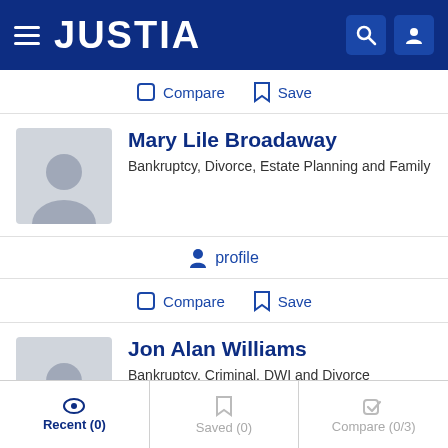JUSTIA
Compare   Save
Mary Lile Broadaway
Bankruptcy, Divorce, Estate Planning and Family
profile
Compare   Save
Jon Alan Williams
Bankruptcy, Criminal, DWI and Divorce
Recent (0)   Saved (0)   Compare (0/3)